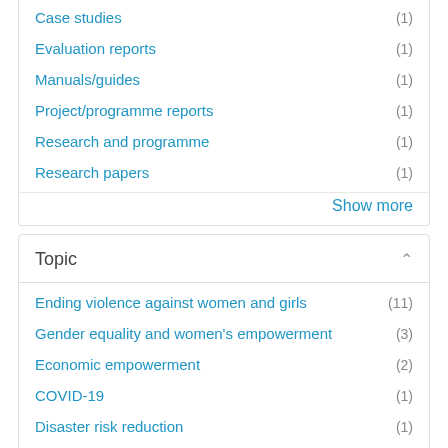Case studies (1)
Evaluation reports (1)
Manuals/guides (1)
Project/programme reports (1)
Research and programme (1)
Research papers (1)
Show more
Topic
Ending violence against women and girls (11)
Gender equality and women's empowerment (3)
Economic empowerment (2)
COVID-19 (1)
Disaster risk reduction (1)
Health (1)
Human rights (1)
Leadership and political participation (1)